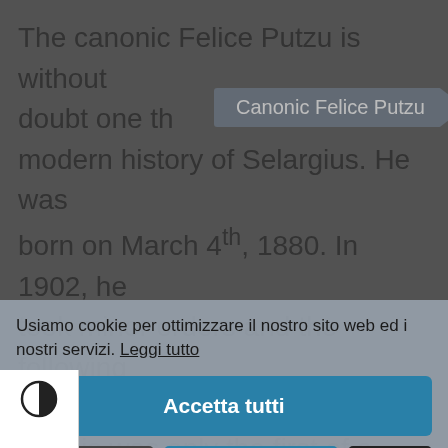The canonic Felice Putzu is without doubt one th… modern history of Selargius. He was born on March 4th, 1880. In 1902, he took minor orders and the following… he was appointed as parochial r. This was only the first of a long es of important ecclesiastical gnments assigned to him. For instance, he was a board member for the administration of ecclesiastical goods, censor for the press, and board
Canonic Felice Putzu
Usiamo cookie per ottimizzare il nostro sito web ed i nostri servizi. Leggi tutto
Accetta tutti
Solo funzionali
Visualizza preference
In alto